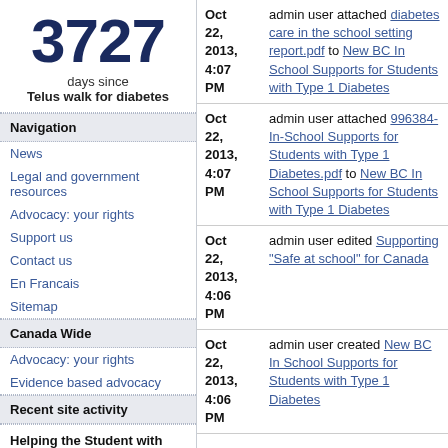3727 days since Telus walk for diabetes
Navigation
News
Legal and government resources
Advocacy: your rights
Support us
Contact us
En Francais
Sitemap
Canada Wide
Advocacy: your rights
Evidence based advocacy
Recent site activity
Helping the Student with Diabetes Succeed: A Guide for School Personnel
Oct 22, 2013, 4:07 PM — admin user attached diabetes care in the school setting report.pdf to New BC In School Supports for Students with Type 1 Diabetes
Oct 22, 2013, 4:07 PM — admin user attached 996384-In-School Supports for Students with Type 1 Diabetes.pdf to New BC In School Supports for Students with Type 1 Diabetes
Oct 22, 2013, 4:06 PM — admin user edited Supporting "Safe at school" for Canada
Oct 22, 2013, 4:06 PM — admin user created New BC In School Supports for Students with Type 1 Diabetes